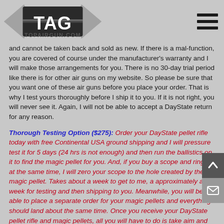TopAirGun.com logo and navigation
and cannot be taken back and sold as new. If there is a mal-function, you are covered of course under the manufacturer's warranty and I will make those arrangements for you. There is no 30-day trial period like there is for other air guns on my website. So please be sure that you want one of these air guns before you place your order. That is why I test yours thoroughly before I ship it to you. If it is not right, you will never see it. Again, I will not be able to accept a DayState return for any reason.
Thorough Testing Option ($275): Order your DayState pellet rifle today with free Continental USA ground shipping and I will pressure test it for 5 days (24 hrs is not enough) and then run the ballistics on it to find the magic pellet for you. And, if you buy a scope and rings at the same time, I will zero your scope to the hole created by the magic pellet. Takes about a week to get to me, a approximately a week for testing and then shipping to you. Meanwhile, you will be able to place a separate order for your magic pellets and everything should land about the same time. Once you receive your DayState pellet rifle and magic pellets, all you will have to do is take aim and start hitting your bulls-eye!!... I know what you are thinking... you are correct- the guesswork is eliminated. Available by email request only.